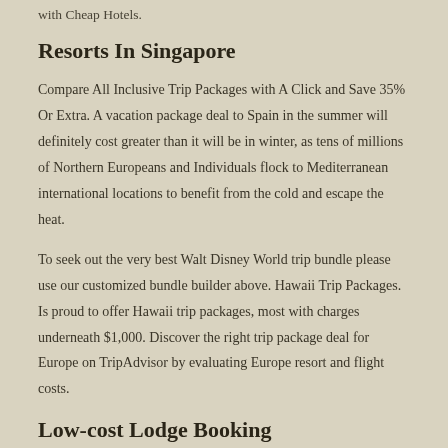with Cheap Hotels.
Resorts In Singapore
Compare All Inclusive Trip Packages with A Click and Save 35% Or Extra. A vacation package deal to Spain in the summer will definitely cost greater than it will be in winter, as tens of millions of Northern Europeans and Individuals flock to Mediterranean international locations to benefit from the cold and escape the heat.
To seek out the very best Walt Disney World trip bundle please use our customized bundle builder above. Hawaii Trip Packages. Is proud to offer Hawaii trip packages, most with charges underneath $1,000. Discover the right trip package deal for Europe on TripAdvisor by evaluating Europe resort and flight costs.
Low-cost Lodge Booking